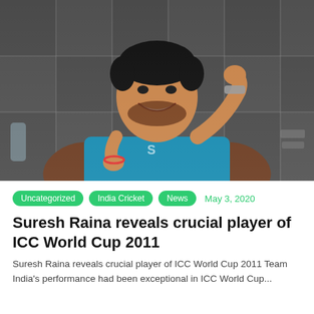[Figure (photo): Photo of Suresh Raina smiling and wearing a teal/blue sports jersey, holding his collar, with a checkered grey backdrop behind him.]
Uncategorized  India Cricket  News  May 3, 2020
Suresh Raina reveals crucial player of ICC World Cup 2011
Suresh Raina reveals crucial player of ICC World Cup 2011 Team India's performance had been exceptional in ICC World Cup...